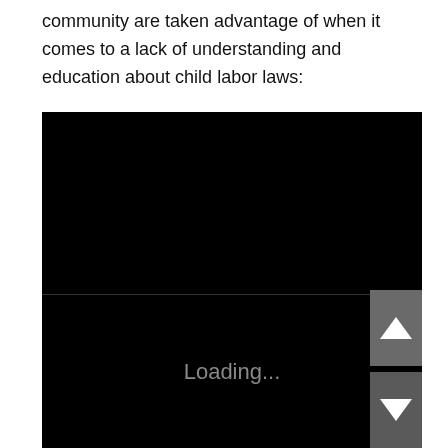community are taken advantage of when it comes to a lack of understanding and education about child labor laws:
[Figure (screenshot): A black video player embed showing a 'Loading...' message in gray text in the center of the lower half. The upper half of the player is also black. On the right side of the player there are two scroll/navigation buttons: an upward arrow button (dark gray) and a downward arrow button (darker gray) with white arrow icons.]